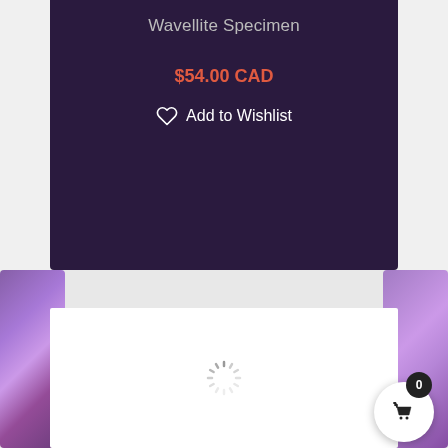Wavellite Specimen
$54.00 CAD
Add to Wishlist
[Figure (screenshot): Loading spinner (spinning wheel animation indicator) in center of white content panel]
[Figure (other): Scroll to top button (gray rectangle with up chevron arrow) on right edge]
[Figure (other): Shopping cart floating action button: dark badge showing 0, white circle with basket icon]